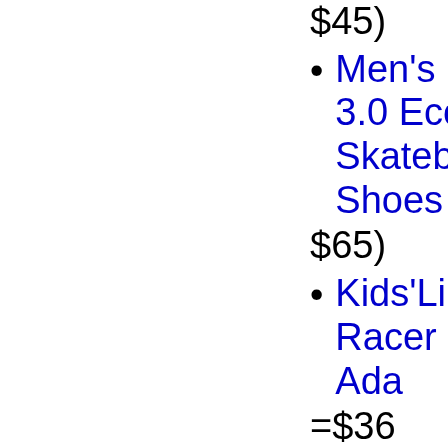$45)
Men's D 3.0 Eco Skateboard Shoes =$39 $65)
Kids'Li Racer Ada =$36 (was
Boys' C 3-Stripes S =$12 (was
Women